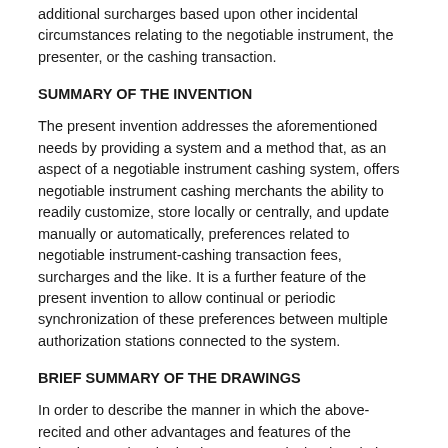additional surcharges based upon other incidental circumstances relating to the negotiable instrument, the presenter, or the cashing transaction.
SUMMARY OF THE INVENTION
The present invention addresses the aforementioned needs by providing a system and a method that, as an aspect of a negotiable instrument cashing system, offers negotiable instrument cashing merchants the ability to readily customize, store locally or centrally, and update manually or automatically, preferences related to negotiable instrument-cashing transaction fees, surcharges and the like. It is a further feature of the present invention to allow continual or periodic synchronization of these preferences between multiple authorization stations connected to the system.
BRIEF SUMMARY OF THE DRAWINGS
In order to describe the manner in which the above-recited and other advantages and features of the invention can be obtained, a more particular description of the invention briefly described above will be rendered by reference to specific embodiments thereof that will be illustrated in the